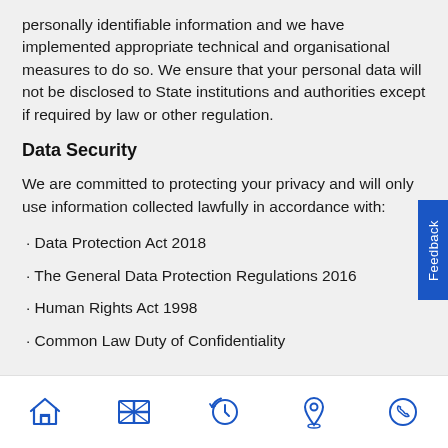personally identifiable information and we have implemented appropriate technical and organisational measures to do so. We ensure that your personal data will not be disclosed to State institutions and authorities except if required by law or other regulation.
Data Security
We are committed to protecting your privacy and will only use information collected lawfully in accordance with:
· Data Protection Act 2018
· The General Data Protection Regulations 2016
· Human Rights Act 1998
· Common Law Duty of Confidentiality